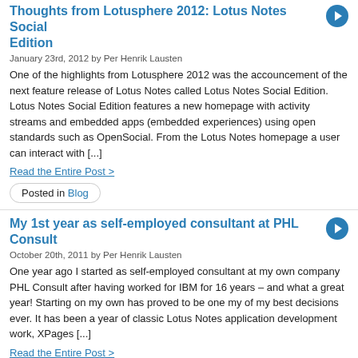Thoughts from Lotusphere 2012: Lotus Notes Social Edition
January 23rd, 2012 by Per Henrik Lausten
One of the highlights from Lotusphere 2012 was the accouncement of the next feature release of Lotus Notes called Lotus Notes Social Edition. Lotus Notes Social Edition features a new homepage with activity streams and embedded apps (embedded experiences) using open standards such as OpenSocial. From the Lotus Notes homepage a user can interact with [...]
Read the Entire Post >
Posted in Blog
My 1st year as self-employed consultant at PHL Consult
October 20th, 2011 by Per Henrik Lausten
One year ago I started as self-employed consultant at my own company PHL Consult after having worked for IBM for 16 years – and what a great year! Starting on my own has proved to be one my of my best decisions ever. It has been a year of classic Lotus Notes application development work, XPages [...]
Read the Entire Post >
Posted in Blog
Lotus Notes/Domino 8.5.3 and IBM XWork Server 8.5.3 are here
October 4th, 2011 by Per Henrik Lausten
It's October 4th and Lotus Notes and Domino 8.5.3 are now available for download on Passport Advantage. The brand new IBM XWork Server has also